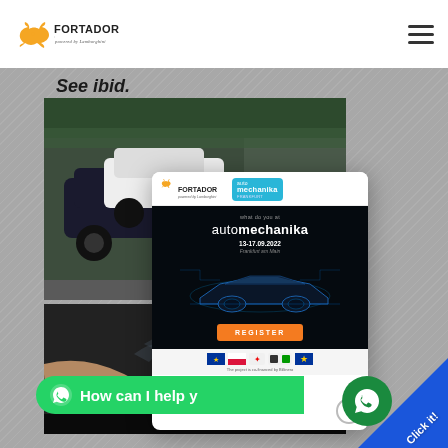[Figure (logo): Fortador logo - orange bull with FORTADOR text and 'powered by Lamborghini' tagline]
See ibid.
[Figure (photo): Top photo showing cars in a parking lot (Audi SUV) and a Lamborghini-branded orange cleaning machine]
[Figure (screenshot): Modal popup for Automechanika Frankfurt event. Shows Fortador and Automechanika logos, text 'what do you automechanika 13-17.09.2022 Frankfurt am Main', a car image, orange REGISTER button, sponsor logos at bottom]
[Figure (photo): Bottom photo showing a person's hands working on a car tire/wheel]
How can I help y...
Click it!